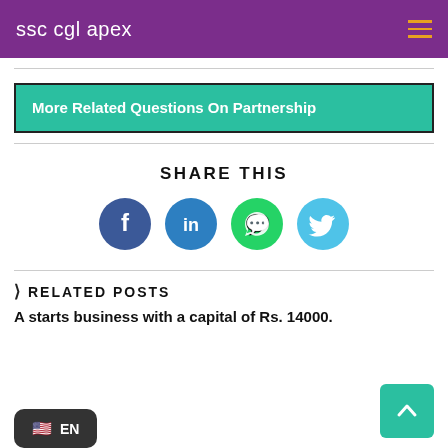ssc cgl apex
More Related Questions On Partnership
SHARE THIS
[Figure (infographic): Social share icons: Facebook, LinkedIn, WhatsApp, Twitter]
RELATED POSTS
A starts business with a capital of Rs. 14000.
[Figure (screenshot): Language selector showing EN with US flag]